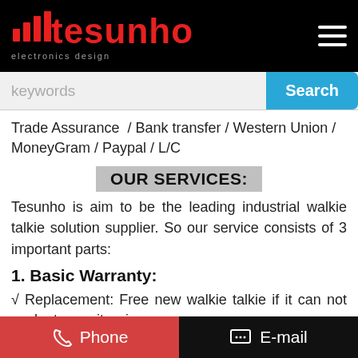[Figure (logo): Tesunho electronics design logo in red on black background with signal bar icons, and hamburger menu icon top right]
keywords  Search
Trade Assurance  / Bank transfer / Western Union / MoneyGram / Paypal / L/C
OUR SERVICES:
Tesunho is aim to be the leading industrial walkie talkie solution supplier. So our service consists of 3 important parts:
1. Basic Warranty:
√ Replacement: Free new walkie talkie if it can not work at once it arrives.
√ Free maintenance and parts (without artificial
Phone   E-mail